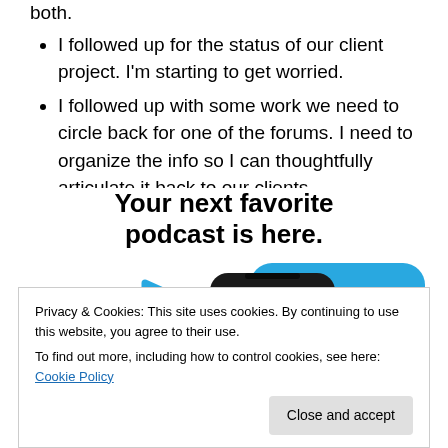both.
I followed up for the status of our client project. I'm starting to get worried.
I followed up with some work we need to circle back for one of the forums. I need to organize the info so I can thoughtfully articulate it back to our clients.
[Figure (illustration): Advertisement banner for a podcast app showing 'Your next favorite podcast is here.' with smartphone screenshots displaying a podcast app UI and blue play button graphics]
Privacy & Cookies: This site uses cookies. By continuing to use this website, you agree to their use. To find out more, including how to control cookies, see here: Cookie Policy